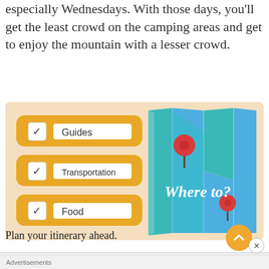especially Wednesdays. With those days, you'll get the least crowd on the camping areas and get to enjoy the mountain with a lesser crowd.
[Figure (infographic): Infographic showing a checklist with items Guides, Transportation, and Food (each with a checkmark in a yellow rounded rectangle), alongside a folded blue/teal map illustration with two red location pins and the text 'Where to?' in white italic font, on a light peach background.]
Plan your itinerary ahead.
Advertisements